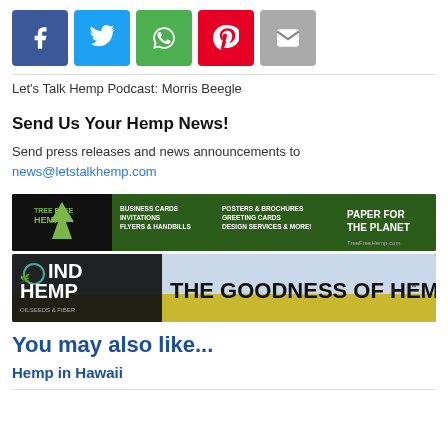[Figure (other): Social sharing buttons: Facebook (blue), Twitter (light blue), WhatsApp (green), Pinterest (red), Email (grey)]
Let's Talk Hemp Podcast: Morris Beegle
Send Us Your Hemp News!
Send press releases and news announcements to news@letstalkhemp.com
[Figure (other): Tree Free Hemp advertisement banner: business cards, invitations, flyers & handbills, posters & brochures, greeting cards, design services & more! Paper for the Planet. TreeFreeHemp.com]
[Figure (other): IND Hemp advertisement banner: The Goodness of Hemp™. Oilseeds & Fiber.]
You may also like...
Hemp in Hawaii